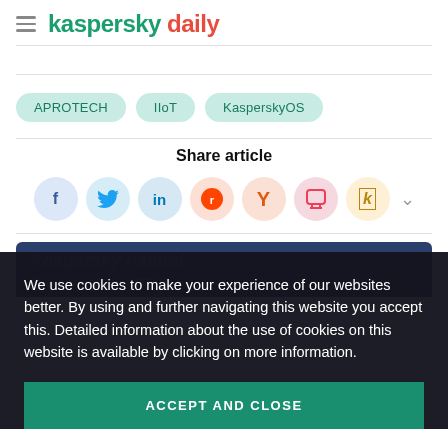kaspersky daily
APROTECH
IIoT
KasperskyOS
Share article
Share icons: Facebook, Twitter, LinkedIn, Reddit, Yandex, Pocket, Kicker, more
We use cookies to make your experience of our websites better. By using and further navigating this website you accept this. Detailed information about the use of cookies on this website is available by clicking on more information.
ACCEPT AND CLOSE